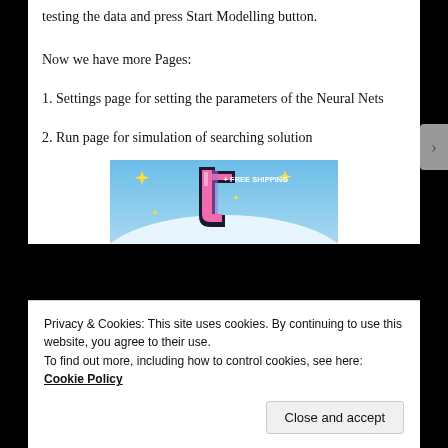testing the data and press Start Modelling button.
Now we have more Pages:
1. Settings page for setting the parameters of the Neural Nets
2. Run page for simulation of searching solution
[Figure (photo): Advertisement banner with a stylized letter 't' logo in pink and purple on a blue sky background with sparkles, and text '+ FREE SHIPPING']
Privacy & Cookies: This site uses cookies. By continuing to use this website, you agree to their use.
To find out more, including how to control cookies, see here: Cookie Policy
Close and accept